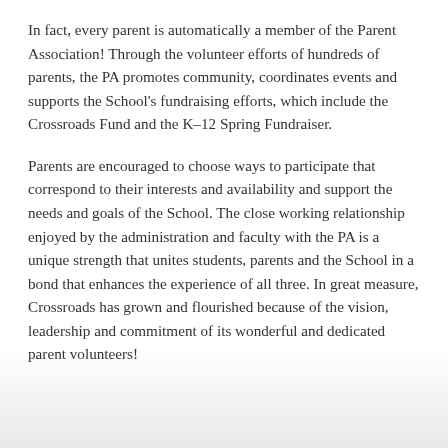In fact, every parent is automatically a member of the Parent Association! Through the volunteer efforts of hundreds of parents, the PA promotes community, coordinates events and supports the School's fundraising efforts, which include the Crossroads Fund and the K–12 Spring Fundraiser.
Parents are encouraged to choose ways to participate that correspond to their interests and availability and support the needs and goals of the School. The close working relationship enjoyed by the administration and faculty with the PA is a unique strength that unites students, parents and the School in a bond that enhances the experience of all three. In great measure, Crossroads has grown and flourished because of the vision, leadership and commitment of its wonderful and dedicated parent volunteers!